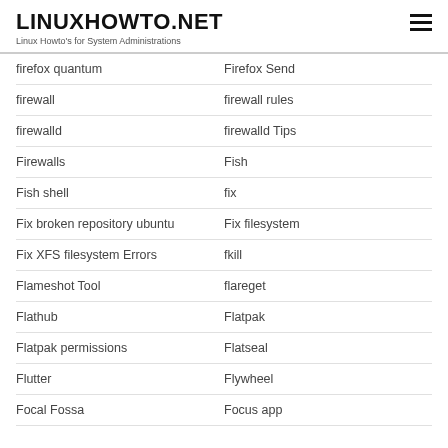LINUXHOWTO.NET
Linux Howto's for System Administrations
firefox quantum
Firefox Send
firewall
firewall rules
firewalld
firewalld Tips
Firewalls
Fish
Fish shell
fix
Fix broken repository ubuntu
Fix filesystem
Fix XFS filesystem Errors
fkill
Flameshot Tool
flareget
Flathub
Flatpak
Flatpak permissions
Flatseal
Flutter
Flywheel
Focal Fossa
Focus app